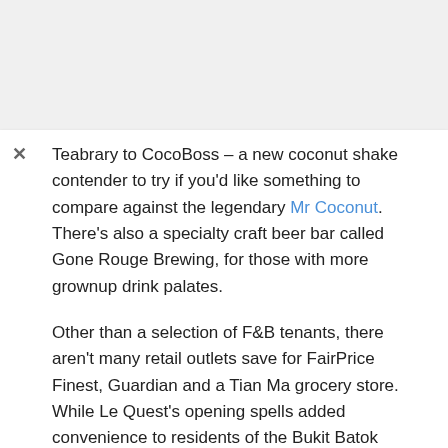Teabrary to CocoBoss – a new coconut shake contender to try if you'd like something to compare against the legendary Mr Coconut. There's also a specialty craft beer bar called Gone Rouge Brewing, for those with more grownup drink palates.
Other than a selection of F&B tenants, there aren't many retail outlets save for FairPrice Finest, Guardian and a Tian Ma grocery store. While Le Quest's opening spells added convenience to residents of the Bukit Batok region, it might not be worth a trip to the West if you're expecting a major shopping spree.
Address: 4 Bukit Batok Street 41, Le Quest, Singapore 657991
Opening hours: 10AM-9PM, Daily